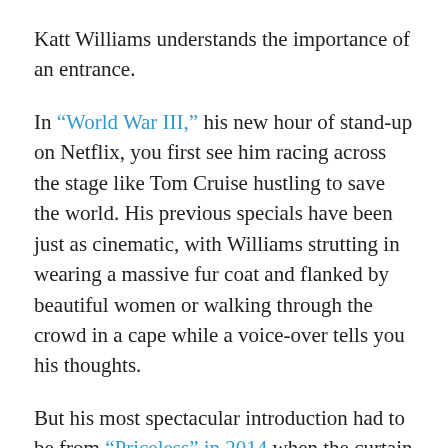Katt Williams understands the importance of an entrance.
In “World War III,” his new hour of stand-up on Netflix, you first see him racing across the stage like Tom Cruise hustling to save the world. His previous specials have been just as cinematic, with Williams strutting in wearing a massive fur coat and flanked by beautiful women or walking through the crowd in a cape while a voice-over tells you his thoughts.
But his most spectacular introduction had to be from “Priceless” in 2014 when the curtain dropped to reveal a smoky stage with two women dancing on either side of a cage containing a lion. Not a sleepy one, mind you. This beast was jumpy. After a shot of the audience, a clever piece of misdirection by the director Spike Lee, the focus returned to the stage where one of the women opened a cage door slowly enough to let your mind wander to